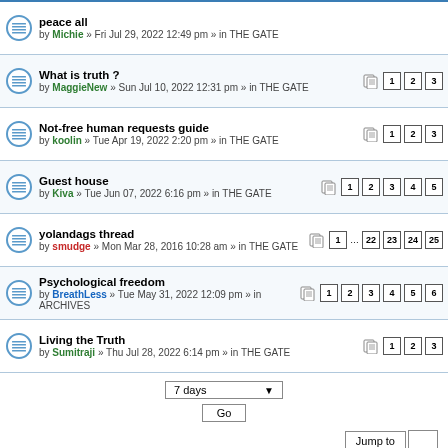peace all by Michie » Fri Jul 29, 2022 12:49 pm » in THE GATE
What is truth ? by MaggieNew » Sun Jul 10, 2022 12:31 pm » in THE GATE | pages: 1 2 3
Not-free human requests guide by koolin » Tue Apr 19, 2022 2:20 pm » in THE GATE | pages: 1 2 3
Guest house by Kiva » Tue Jun 07, 2022 6:16 pm » in THE GATE | pages: 1 2 3 4 5
yolandags thread by smudge » Mon Mar 28, 2016 10:28 am » in THE GATE | pages: 1 ... 22 23 24 25
Psychological freedom by BreathLess » Tue May 31, 2022 12:09 pm » in ARCHIVES | pages: 1 2 3 4 5 6
Living the Truth by Sumitraji » Thu Jul 28, 2022 6:14 pm » in THE GATE | pages: 1 2 3
7 days  Go
Jump to
Board index  Delete cookies • All times are UTC+01:00
Powered by phpBB® Forum Software © phpBB Limited